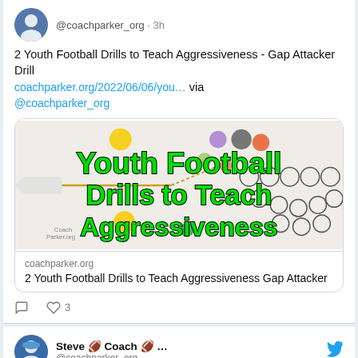@coachparker_org · 3h
2 Youth Football Drills to Teach Aggressiveness - Gap Attacker Drill coachparker.org/2022/06/06/you… via @coachparker_org
[Figure (screenshot): Youth Football Drills to Teach Aggressiveness graphic with football drill diagram]
coachparker.org
2 Youth Football Drills to Teach Aggressiveness Gap Attacker
3 likes
Steve 🏈 Coach 🏈 ...